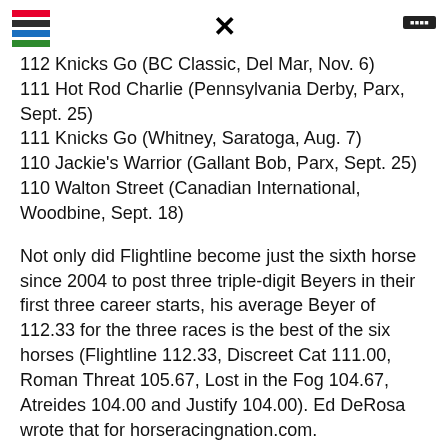X
112 Knicks Go (BC Classic, Del Mar, Nov. 6)
111 Hot Rod Charlie (Pennsylvania Derby, Parx, Sept. 25)
111 Knicks Go (Whitney, Saratoga, Aug. 7)
110 Jackie's Warrior (Gallant Bob, Parx, Sept. 25)
110 Walton Street (Canadian International, Woodbine, Sept. 18)
Not only did Flightline become just the sixth horse since 2004 to post three triple-digit Beyers in their first three career starts, his average Beyer of 112.33 for the three races is the best of the six horses (Flightline 112.33, Discreet Cat 111.00, Roman Threat 105.67, Lost in the Fog 104.67, Atreides 104.00 and Justify 104.00). Ed DeRosa wrote that for horseracingnation.com.
Flightline recorded the highest Beyer Speed Figure